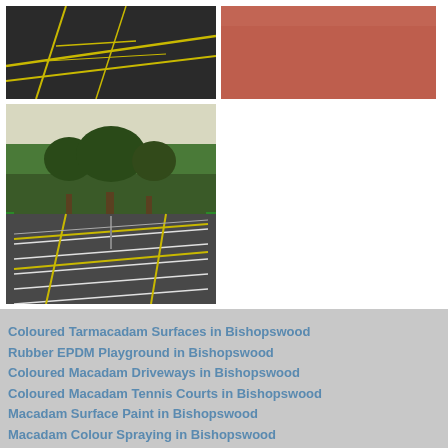[Figure (photo): Dark tarmacadam surface with yellow line markings]
[Figure (photo): Red/terracotta coloured macadam surface close-up]
[Figure (photo): Outdoor tarmacadam tennis/sports courts with white and yellow line markings, green fencing and trees in background]
Coloured Tarmacadam Surfaces in Bishopswood
Rubber EPDM Playground in Bishopswood
Coloured Macadam Driveways in Bishopswood
Coloured Macadam Tennis Courts in Bishopswood
Macadam Surface Paint in Bishopswood
Macadam Colour Spraying in Bishopswood
Asphalt Coloured Surfaces in Bishopswood
Tarmacadam Anti Slip Paint in Bishopswood